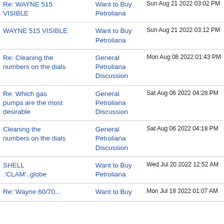| Topic | Forum | Date |
| --- | --- | --- |
| Re: WAYNE 515 VISIBLE | Want to Buy Petroliana | Sun Aug 21 2022 03:02 PM |
| WAYNE 515 VISIBLE | Want to Buy Petroliana | Sun Aug 21 2022 03:12 PM |
| Re: Cleaning the numbers on the dials | General Petroliana Discussion | Mon Aug 08 2022 01:43 PM |
| Re: Which gas pumps are the most desirable | General Petroliana Discussion | Sat Aug 06 2022 04:28 PM |
| Cleaning the numbers on the dials | General Petroliana Discussion | Sat Aug 06 2022 04:18 PM |
| SHELL .'CLAM'..globe | Want to Buy Petroliana | Wed Jul 20 2022 12:52 AM |
| Re: Wayne 60/70 | Want to Buy | Mon Jul 18 2022 01:07 AM |